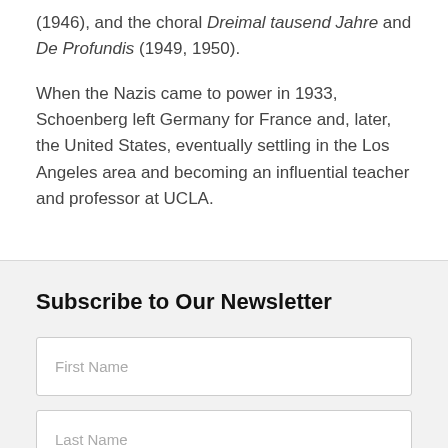(1946), and the choral Dreimal tausend Jahre and De Profundis (1949, 1950).
When the Nazis came to power in 1933, Schoenberg left Germany for France and, later, the United States, eventually settling in the Los Angeles area and becoming an influential teacher and professor at UCLA.
Subscribe to Our Newsletter
First Name
Last Name